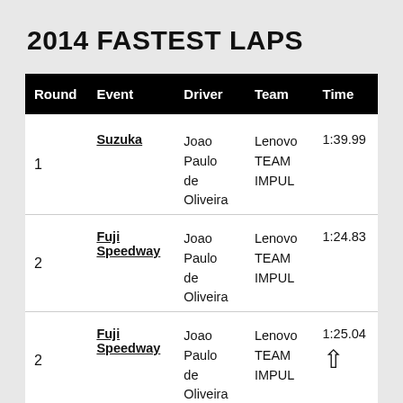2014 FASTEST LAPS
| Round | Event | Driver | Team | Time |
| --- | --- | --- | --- | --- |
| 1 | Suzuka | Joao Paulo de Oliveira | Lenovo TEAM IMPUL | 1:39.99 |
| 2 | Fuji Speedway | Joao Paulo de Oliveira | Lenovo TEAM IMPUL | 1:24.83 |
| 2 | Fuji Speedway | Joao Paulo de Oliveira | Lenovo TEAM IMPUL | 1:25.04 |
| 3 | Fuji Speedway | Joao Paulo de Oliveira | Lenovo TEAM IMPUL | 1:24.78 |